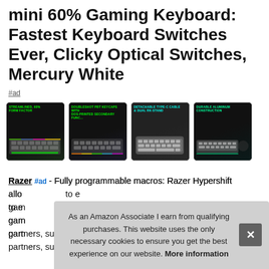mini 60% Gaming Keyboard: Fastest Keyboard Switches Ever, Clicky Optical Switches, Mercury White
#ad
[Figure (photo): Four product images of a white gaming keyboard (Razer mini 60%). Image 1: keyboard on desk with green/rainbow RGB lighting, caption 'STREAMLINED, 60% FORM FACTOR'. Image 2: keyboard with rainbow RGB, caption 'DOUBLESHOT PBT KEYCAPS WITH DOS-PRINTED SECONDARY FUNCTIONS'. Image 3: keyboard aerial view white keys, caption 'DETACHABLE TYPE-C CABLE & DUAL RK-STAND'. Image 4: keyboard with headset on teal surface, caption 'DURABLE ALUMINUM CONSTRUCTION'.]
Razer #ad - Fully programmable macros: Razer Hypershift allows to every single key, making every keystroke game-ready; game partners, supports 10.
As an Amazon Associate I earn from qualifying purchases. This website uses the only necessary cookies to ensure you get the best experience on our website. More information